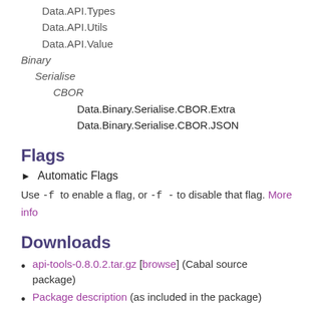Data.API.Types
Data.API.Utils
Data.API.Value
Binary
Serialise
CBOR
Data.Binary.Serialise.CBOR.Extra
Data.Binary.Serialise.CBOR.JSON
Flags
► Automatic Flags
Use -f <flag> to enable a flag, or -f -<flag> to disable that flag. More info
Downloads
api-tools-0.8.0.2.tar.gz [browse] (Cabal source package)
Package description (as included in the package)